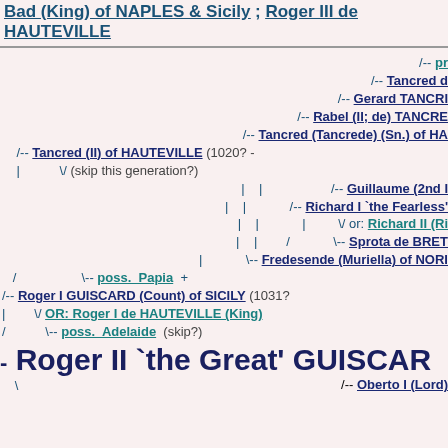Bad (King) of NAPLES & Sicily ; Roger III de HAUTEVILLE
[Figure (organizational-chart): Genealogical tree showing ancestry of Roger II 'the Great' GUISCARD, with ancestors including Tancred (II) of HAUTEVILLE, Roger I GUISCARD (Count) of SICILY, and various Norman ancestors including Richard I 'the Fearless', Sprota de BRETAGNE, Fredesende (Muriella) of NORMANDY, and others. Links shown with /-- and \-- connectors.]